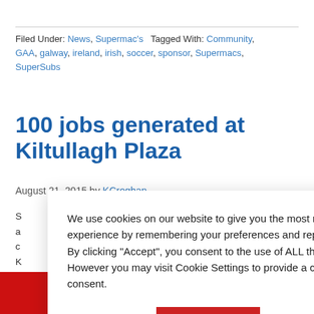Filed Under: News, Supermac's   Tagged With: Community, GAA, galway, ireland, irish, soccer, sponsor, Supermacs, SuperSubs
100 jobs generated at Kiltullagh Plaza
August 21, 2015 by KCroghan
We use cookies on our website to give you the most relevant experience by remembering your preferences and repeat visits. By clicking "Accept", you consent to the use of ALL the cookies. However you may visit Cookie Settings to provide a controlled consent.
ORDER ONLINE